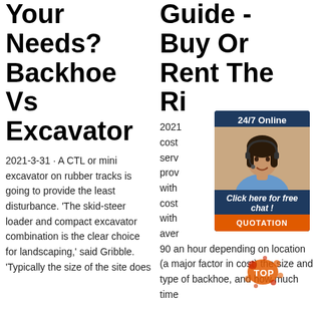Your Needs? Backhoe Vs Excavator
2021-3-31 · A CTL or mini excavator on rubber tracks is going to provide the least disturbance. 'The skid-steer loader and compact excavator combination is the clear choice for landscaping,' said Gribble. 'Typically the size of the site does
Guide - Buy Or Rent The Ri
[Figure (infographic): Chat widget with '24/7 Online' header, photo of woman with headset, 'Click here for free chat!' text, and orange QUOTATION button]
2021 cost serv prov with cost with aver 90 an hour depending on location (a major factor in cost) the size and type of backhoe, and how much time